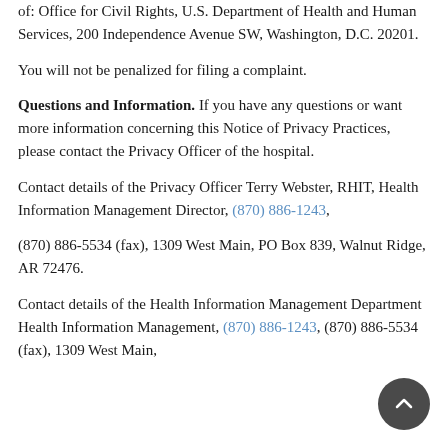of: Office for Civil Rights, U.S. Department of Health and Human Services, 200 Independence Avenue SW, Washington, D.C. 20201.
You will not be penalized for filing a complaint.
Questions and Information. If you have any questions or want more information concerning this Notice of Privacy Practices, please contact the Privacy Officer of the hospital.
Contact details of the Privacy Officer Terry Webster, RHIT, Health Information Management Director, (870) 886-1243,
(870) 886-5534 (fax), 1309 West Main, PO Box 839, Walnut Ridge, AR 72476.
Contact details of the Health Information Management Department Health Information Management, (870) 886-1243, (870) 886-5534 (fax), 1309 West Main,